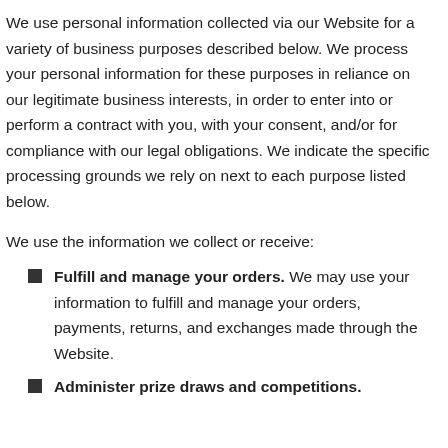We use personal information collected via our Website for a variety of business purposes described below. We process your personal information for these purposes in reliance on our legitimate business interests, in order to enter into or perform a contract with you, with your consent, and/or for compliance with our legal obligations. We indicate the specific processing grounds we rely on next to each purpose listed below.
We use the information we collect or receive:
Fulfill and manage your orders. We may use your information to fulfill and manage your orders, payments, returns, and exchanges made through the Website.
Administer prize draws and competitions.